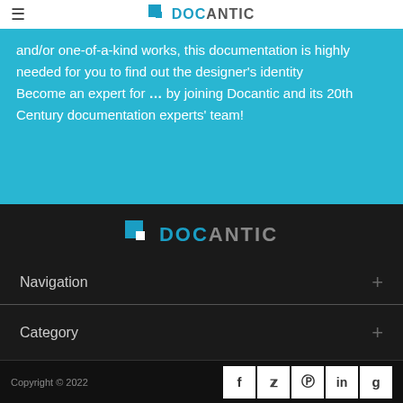DOCANTIC
and/or one-of-a-kind works, this documentation is highly needed for you to find out the designer's identity Become an expert for … by joining Docantic and its 20th Century documentation experts' team!
[Figure (logo): Docantic logo with white square icon and DOC in blue, ANTIC in grey, on dark background]
Navigation +
Category +
Copyright © 2022
[Figure (other): Social media icons for Facebook, Twitter, Instagram, LinkedIn, Google+]